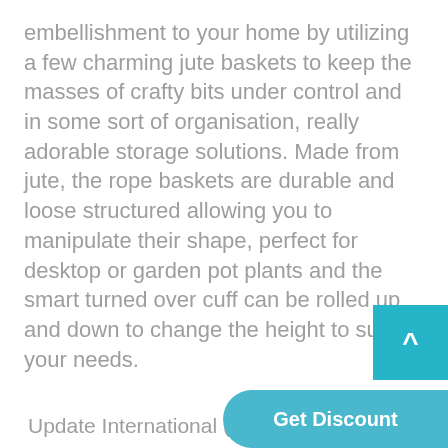embellishment to your home by utilizing a few charming jute baskets to keep the masses of crafty bits under control and in some sort of organisation, really adorable storage solutions. Made from jute, the rope baskets are durable and loose structured allowing you to manipulate their shape, perfect for desktop or garden pot plants and the smart turned over cuff can be rolled up and down to change the height to suit your needs.
Update International (APTC-10